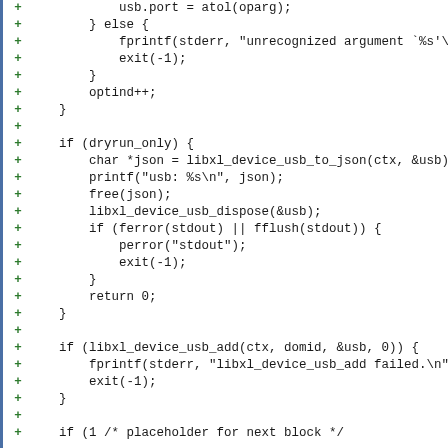[Figure (screenshot): Code diff screenshot showing C source code additions with green plus signs on the left margin. The code includes control flow for USB device handling: else block with fprintf and exit, optind++, dryrun_only check with JSON conversion and cleanup, ferror/fflush check with perror and exit, return 0, and libxl_device_usb_add call with error handling.]